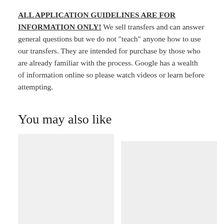ALL APPLICATION GUIDELINES ARE FOR INFORMATION ONLY! We sell transfers and can answer general questions but we do not "teach" anyone how to use our transfers. They are intended for purchase by those who are already familiar with the process. Google has a wealth of information online so please watch videos or learn before attempting.
You may also like
[Figure (photo): Product image placeholder (light gray background) for Waterslide, Sublimation Transfers - Summer]
Waterslide, Sublimation Transfers - Summer
[Figure (photo): Product image placeholder (light gray background) for Waterslide, Sublimation (second product)]
Waterslide, Sublimation